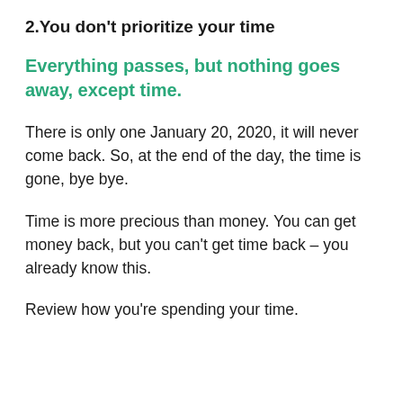2.You don't prioritize your time
Everything passes, but nothing goes away, except time.
There is only one January 20, 2020, it will never come back. So, at the end of the day, the time is gone, bye bye.
Time is more precious than money. You can get money back, but you can't get time back – you already know this.
Review how you're spending your time.